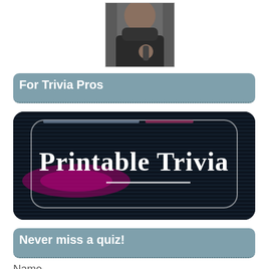[Figure (photo): Partial photo of a person wearing dark clothing, cropped at top of page]
For Trivia Pros
[Figure (illustration): Dark banner image with horizontal scan lines and pink/purple glow effect, text reads 'Printable Trivia' in white serif font with a white underline below]
Never miss a quiz!
Name
What should we call you?